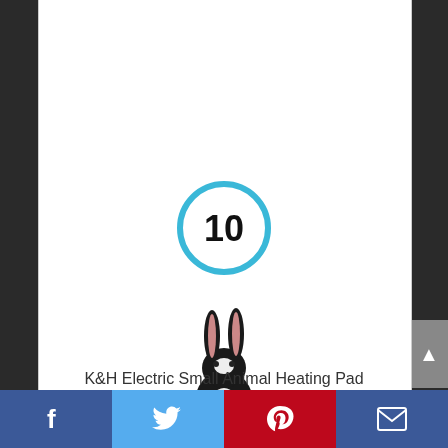[Figure (other): Circular badge with number 10 in blue outline circle]
[Figure (photo): A rabbit sitting on a flat heating pad with a cord trailing behind]
K&H Electric Small Animal Heating Pad
By K&H
View Product
[Figure (other): Social share bar with Facebook, Twitter, Pinterest, and Email icons]